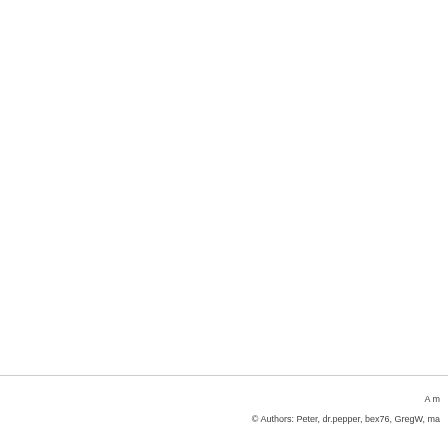A m
© Authors: Peter, dr.pepper, bex76, GregW, ma